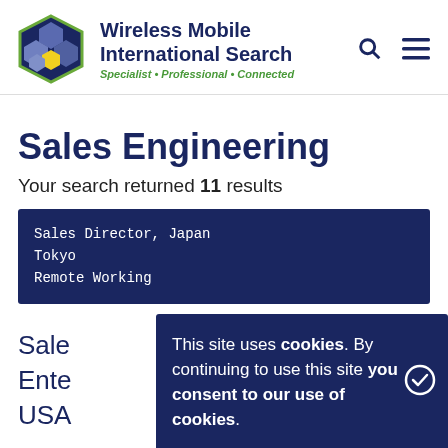[Figure (logo): Wireless Mobile International Search logo with hexagonal icon and tagline Specialist Professional Connected]
Sales Engineering
Your search returned 11 results
Sales Director, Japan
Tokyo
Remote Working
Sale Ente USA
This site uses cookies. By continuing to use this site you consent to our use of cookies.